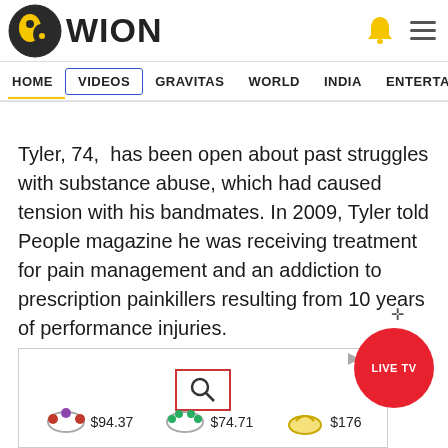[Figure (logo): WION news logo with circular globe-like icon and text WION]
HOME  VIDEOS  GRAVITAS  WORLD  INDIA  ENTERTAINMENT  SPORTS
Tyler, 74,  has been open about past struggles with substance abuse, which had caused tension with his bandmates. In 2009, Tyler told People magazine he was receiving treatment for pain management and an addiction to prescription painkillers resulting from 10 years of performance injuries.
[Figure (screenshot): Advertisement banner showing search icon and jewelry products priced at $94.37, $74.71, $176]